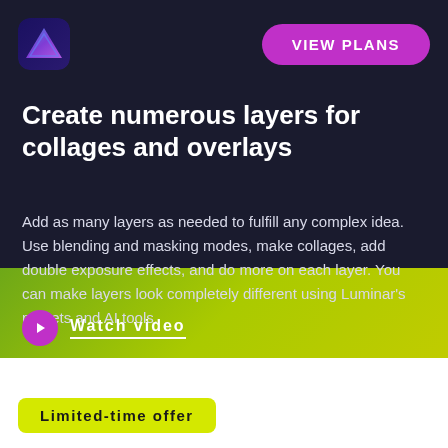[Figure (logo): Luminar Neo triangular logo icon with blue/purple gradient on dark background]
VIEW PLANS
Create numerous layers for collages and overlays
Add as many layers as needed to fulfill any complex idea. Use blending and masking modes, make collages, add double exposure effects, and do more on each layer. You can make layers look completely different using Luminar’s presets and AI tools.
Watch video
Get more editing power with new Luminar Extensions
Limited-time offer